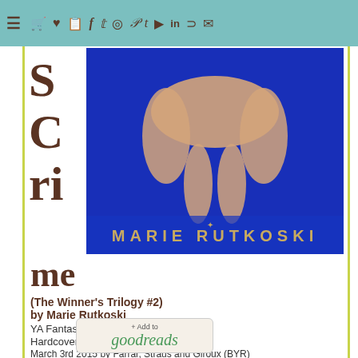Navigation bar with menu and social icons
[Figure (photo): Book cover for The Winner's Crime by Marie Rutkoski - woman in blue dress lying on blue background, author name at bottom]
me
(The Winner's Trilogy #2)
by Marie Rutkoski
YA Fantasy
Hardcover, 416 pages
March 3rd 2015 by Farrar, Straus and Giroux (BYR)
[Figure (other): + Add to goodreads button]